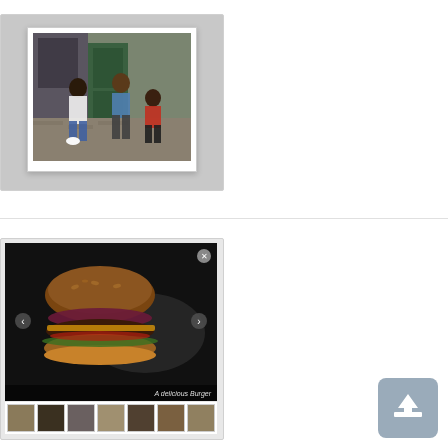[Figure (screenshot): A lightbox overlay showing a photo of three people sitting outdoors on cobblestones in front of a green door. The lightbox has a gray background, white inner frame with an X close button, and the photo fills the inner frame.]
Minimal Single Image Lightbox In jQuery
[Figure (screenshot): A gallery lightbox showing a large dark photo of a burger as the main image, with left/right navigation arrow buttons, a caption 'A delicious Burger' at the bottom, and a thumbnail strip below showing 7 small thumbnails. A close circle button appears top-right.]
[Figure (other): A gray rounded-rectangle upload/back-to-top button icon with an upward arrow in white.]